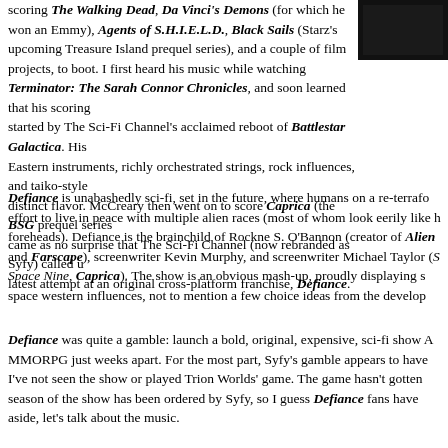scoring The Walking Dead, Da Vinci's Demons (for which he won an Emmy), Agents of S.H.I.E.L.D., Black Sails (Starz's upcoming Treasure Island prequel series), and a couple of film projects, to boot. I first heard his music while watching Terminator: The Sarah Connor Chronicles, and soon learned that his scoring started by The Sci-Fi Channel's acclaimed reboot of Battlestar Galactica. His Eastern instruments, richly orchestrated strings, rock influences, and taiko-style distinct flavor. McCreary then went on to score Caprica (the BSG prequel series came as no surprise that The Sci-Fi Channel (now rebranded as Syfy) called up latest attempt at an original cross-platform franchise, Defiance.
[Figure (photo): Dark/black photograph in upper right corner]
Defiance is unabashedly sci-fi, set in the future, where humans on a re-terraformed effort to live in peace with multiple alien races (most of whom look eerily like humans with bumpy foreheads). Defiance is the brainchild of Rockne S. O'Bannon (creator of Alien Nation and Farscape), screenwriter Kevin Murphy, and screenwriter Michael Taylor (Star Trek: Deep Space Nine, Caprica). The show is an obvious mash-up, proudly displaying space western influences, not to mention a few choice ideas from the developers
Defiance was quite a gamble: launch a bold, original, expensive, sci-fi show AND an MMORPG just weeks apart. For the most part, Syfy's gamble appears to have paid off. I've not seen the show or played Trion Worlds' game. The game hasn't gotten season of the show has been ordered by Syfy, so I guess Defiance fans have aside, let's talk about the music.